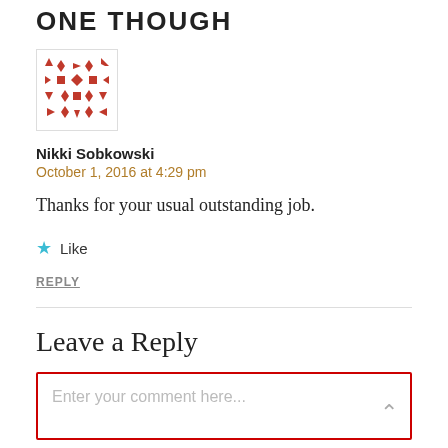ONE THOUGH
[Figure (illustration): Red geometric avatar/identicon image with arrows, squares and diamond shapes arranged in a grid pattern on white background with a thin gray border.]
Nikki Sobkowski
October 1, 2016 at 4:29 pm
Thanks for your usual outstanding job.
★ Like
REPLY
Leave a Reply
Enter your comment here...